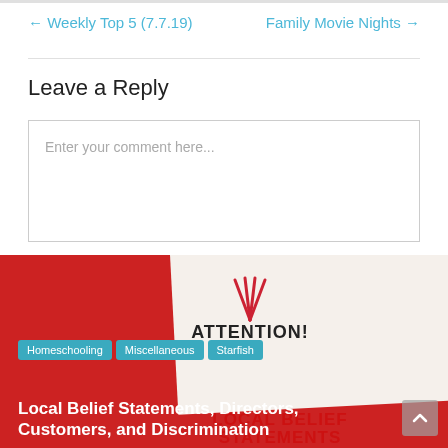← Weekly Top 5 (7.7.19)
Family Movie Nights →
Leave a Reply
Enter your comment here...
[Figure (illustration): Red background with a white paper showing 'ATTENTION!' text with red radiating lines, overlaid with category tags 'Homeschooling', 'Miscellaneous', 'Starfish' and article title 'Local Belief Statements, Directors, Customers, and Discrimination']